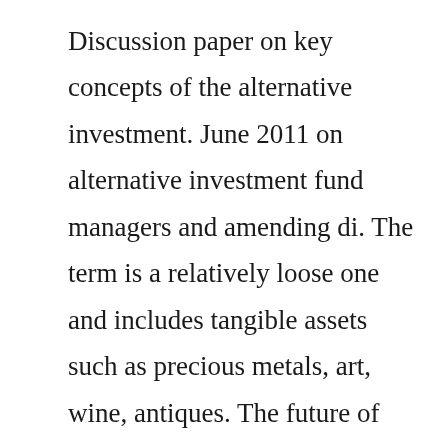Discussion paper on key concepts of the alternative investment. June 2011 on alternative investment fund managers and amending di. The term is a relatively loose one and includes tangible assets such as precious metals, art, wine, antiques. The future of alternative investments 3 introduction and scope the alternative investment industry is deeply embedded in the global. Final report report on the operation of the alternative investment fund managers directive aifmd 10 december, 2018 8 3. To position of the alternative investment...